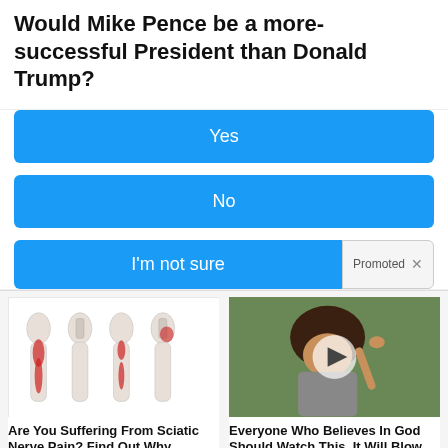Would Mike Pence be a more-successful President than Donald Trump?
Yes
No
I'm not sure
[Figure (illustration): Medical illustration showing four views of human legs with red highlighted areas indicating sciatic nerve pain pathways]
Are You Suffering From Sciatic Nerve Pain? Find Out Why
6,829
[Figure (photo): Video thumbnail showing a woman pointing, with a play button overlay]
Everyone Who Believes In God Should Watch This. It Will Blow Your Mind
716,240